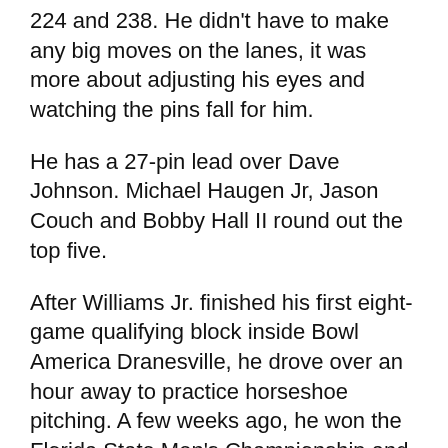224 and 238. He didn't have to make any big moves on the lanes, it was more about adjusting his eyes and watching the pins fall for him.
He has a 27-pin lead over Dave Johnson. Michael Haugen Jr, Jason Couch and Bobby Hall II round out the top five.
After Williams Jr. finished his first eight-game qualifying block inside Bowl America Dranesville, he drove over an hour away to practice horseshoe pitching. A few weeks ago, he won the Florida State Men's Championship and within the next couple of days he needs to decide if he will give up bowling an upcoming PBA50 tournament to compete in the World Horseshoe Pitching Tournament.
The Round will begin the first eight-game of...